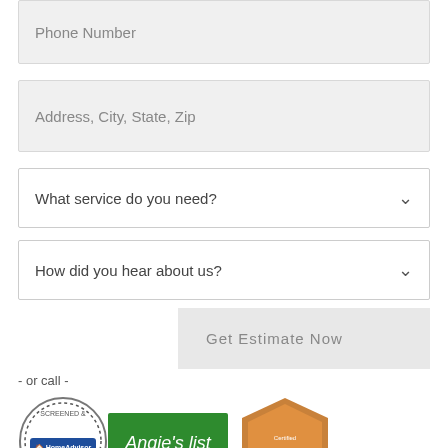Phone Number
Address, City, State, Zip
What service do you need?
How did you hear about us?
Get Estimate Now
- or call -
[Figure (logo): HomeAdvisor Screened & Approved badge]
[Figure (logo): Angie's list green badge]
[Figure (logo): ShingleMaster Certified badge]
[Figure (logo): Yelp Review Us badge]
[Figure (logo): BBB Accredited Business badge]